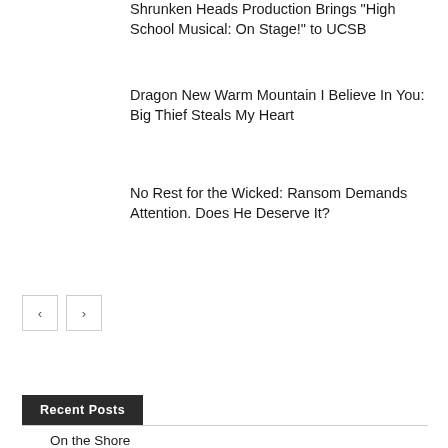Shrunken Heads Production Brings “High School Musical: On Stage!” to UCSB
Dragon New Warm Mountain I Believe In You: Big Thief Steals My Heart
No Rest for the Wicked: Ransom Demands Attention. Does He Deserve It?
‹
›
Recent Posts
On the Shore